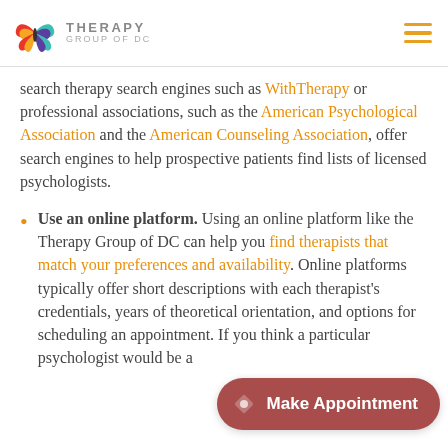THERAPY GROUP OF DC
search therapy search engines such as WithTherapy or professional associations, such as the American Psychological Association and the American Counseling Association, offer search engines to help prospective patients find lists of licensed psychologists.
Use an online platform. Using an online platform like the Therapy Group of DC can help you find therapists that match your preferences and availability. Online platforms typically offer short descriptions with each therapist's credentials, years of theoretical orientation, and options for scheduling an appointment. If you think a particular psychologist would be a